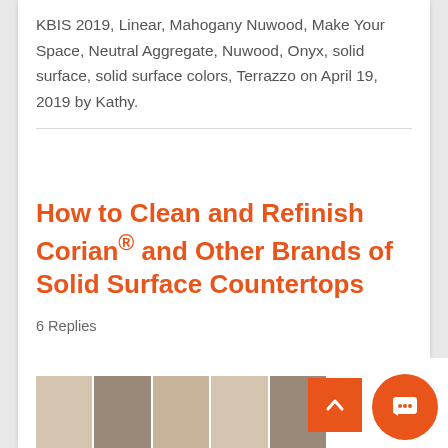KBIS 2019, Linear, Mahogany Nuwood, Make Your Space, Neutral Aggregate, Nuwood, Onyx, solid surface, solid surface colors, Terrazzo on April 19, 2019 by Kathy.
How to Clean and Refinish Corian® and Other Brands of Solid Surface Countertops
6 Replies
[Figure (photo): Partial view of kitchen countertop photos at bottom of page]